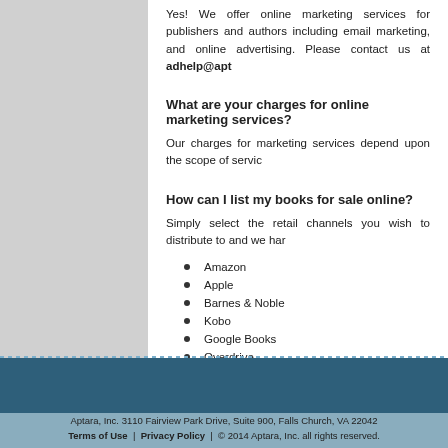Yes! We offer online marketing services for publishers and authors, including email marketing, and online advertising. Please contact us at adhelp@apt...
What are your charges for online marketing services?
Our charges for marketing services depend upon the scope of servic...
How can I list my books for sale online?
Simply select the retail channels you wish to distribute to and we har...
Amazon
Apple
Barnes & Noble
Kobo
Google Books
Overdrive
Aptara, Inc. 3110 Fairview Park Drive, Suite 900, Falls Church, VA 22042
Terms of Use | Privacy Policy | © 2014 Aptara, Inc. all rights reserved.